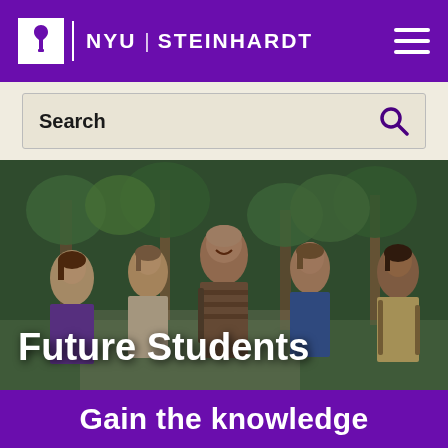NYU STEINHARDT
[Figure (screenshot): Search bar on light beige/tan background with 'Search' label text and a purple magnifying glass icon on the right]
[Figure (photo): Group of smiling students walking together outdoors among trees, with 'Future Students' text overlaid in white bold font at the bottom left]
Gain the knowledge